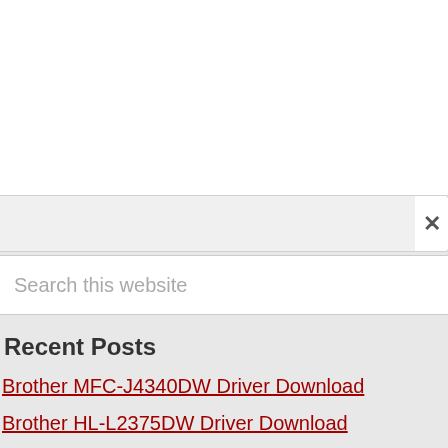Search this website
Recent Posts
Brother MFC-J4340DW Driver Download
Brother HL-L2375DW Driver Download
Brother MFC-J497DW Driver Download
Brother DCP-J1100W Driver Download